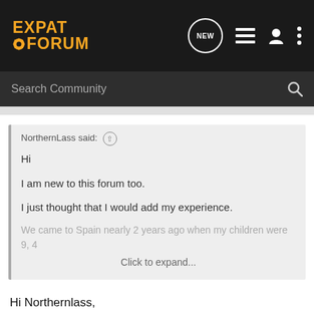EXPAT FORUM
Search Community
NorthernLass said: ↑
Hi

I am new to this forum too.

I just thought that I would add my experience.

We came to Spain nearly 2 years ago when my children were 9, 4
Click to expand...
Hi Northernlass,
I was interested to hear about your experience. It certainly reflects what many people have talked about on the forum, that in general the children pick up the language quicker and with that have less difficulties in intergrating and "managing" in